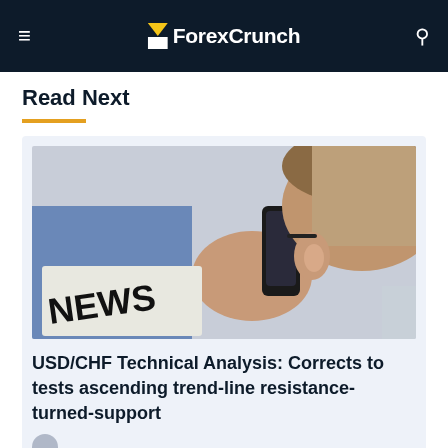ForexCrunch
Read Next
[Figure (photo): Person talking on a mobile phone holding a newspaper with the word NEWS visible on it]
USD/CHF Technical Analysis: Corrects to tests ascending trend-line resistance-turned-support